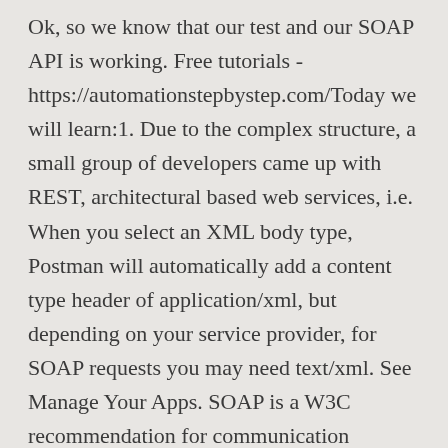Ok, so we know that our test and our SOAP API is working. Free tutorials - https://automationstepbystep.com/Today we will learn:1. Due to the complex structure, a small group of developers came up with REST, architectural based web services, i.e. When you select an XML body type, Postman will automatically add a content type header of application/xml, but depending on your service provider, for SOAP requests you may need text/xml. See Manage Your Apps. SOAP is a W3C recommendation for communication between two applications. Tutorial: Introduction to Monitoring SOAP APIs. An API ... To include PayPal products and solutions in your integrations, use the APIs,ferences, and other resources in this developer documentation.